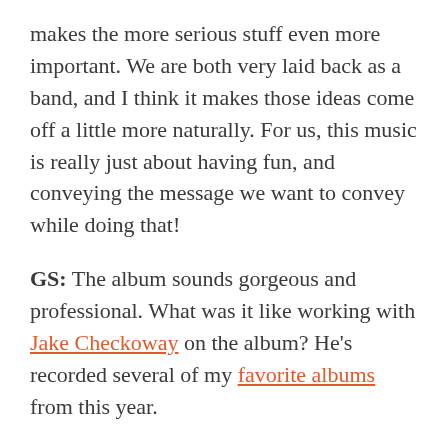makes the more serious stuff even more important. We are both very laid back as a band, and I think it makes those ideas come off a little more naturally. For us, this music is really just about having fun, and conveying the message we want to convey while doing that!
GS: The album sounds gorgeous and professional. What was it like working with Jake Checkoway on the album? He's recorded several of my favorite albums from this year.
OA: Thank you!! Yeah, Jake absolutely killed it on the recording, mixing and mastering of this record. He's super laid back and we clicked pretty much from the get go. He's so good at balancing hard work and production knowledge with also maintaining a fun atmosphere that allows